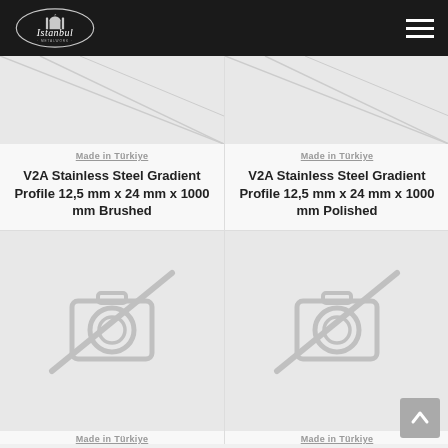Istanbul Metalwork — navigation header with logo and hamburger menu
[Figure (photo): No-image placeholder icon for first product (top-left), partially cropped]
Made in Türkiye
V2A Stainless Steel Gradient Profile 12,5 mm x 24 mm x 1000 mm Brushed
[Figure (photo): No-image placeholder icon for second product (top-right), partially cropped]
Made in Türkiye
V2A Stainless Steel Gradient Profile 12,5 mm x 24 mm x 1000 mm Polished
[Figure (photo): No-image placeholder icon for third product (bottom-left), camera with slash]
[Figure (photo): No-image placeholder icon for fourth product (bottom-right), camera with slash]
Made in Türkiye
Made in Türkiye